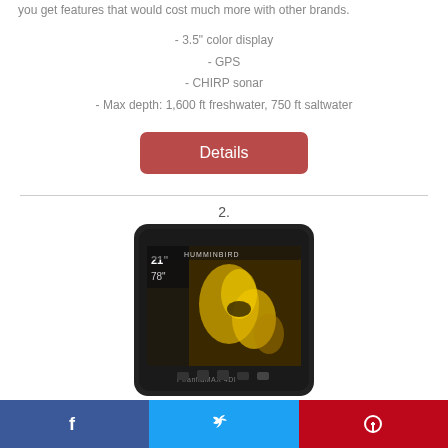you get features that would cost much more with other brands.
- 3.5" color display
- GPS
- CHIRP sonar
- Max depth: 1,600 ft freshwater, 750 ft saltwater
Details
2.
[Figure (photo): Humminbird PiranhaMAX 4DI fish finder device showing sonar display with depth readings of 21 ft and 78 ft]
Photo Quality Guaranteed
[Figure (other): Social media sharing bar with Facebook, Twitter, and Pinterest icons]